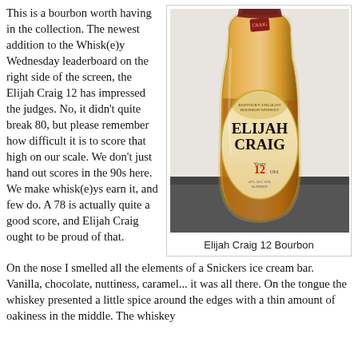This is a bourbon worth having in the collection. The newest addition to the Whisk(e)y Wednesday leaderboard on the right side of the screen, the Elijah Craig 12 has impressed the judges. No, it didn't quite break 80, but please remember how difficult it is to score that high on our scale. We don't just hand out scores in the 90s here. We make whisk(e)ys earn it, and few do. A 78 is actually quite a good score, and Elijah Craig ought to be proud of that. On the nose I smelled all the elements of a Snickers ice cream bar. Vanilla, chocolate, nuttiness, caramel... it was all there. On the tongue the whiskey presented a little spice around the edges with a thin amount of oakiness in the middle. The whiskey
[Figure (photo): Bottle of Elijah Craig 12 Year Old Kentucky Straight Bourbon Whiskey photographed on a dark surface]
Elijah Craig 12 Bourbon